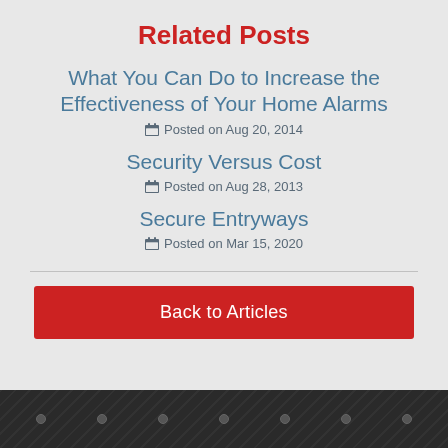Related Posts
What You Can Do to Increase the Effectiveness of Your Home Alarms
Posted on Aug 20, 2014
Security Versus Cost
Posted on Aug 28, 2013
Secure Entryways
Posted on Mar 15, 2020
Back to Articles